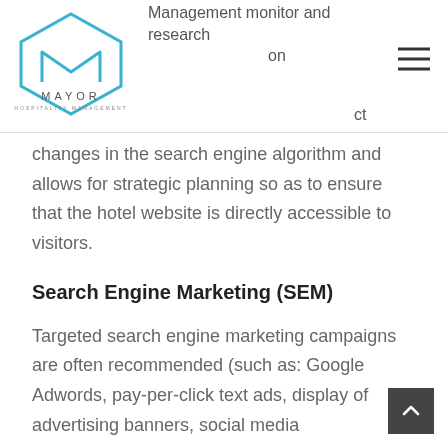Management monitor and research on ct
[Figure (logo): Mayor Hospitality Management logo with hexagon icon and text]
changes in the search engine algorithm and allows for strategic planning so as to ensure that the hotel website is directly accessible to visitors.
Search Engine Marketing (SEM)
Targeted search engine marketing campaigns are often recommended (such as: Google Adwords, pay-per-click text ads, display of advertising banners, social media